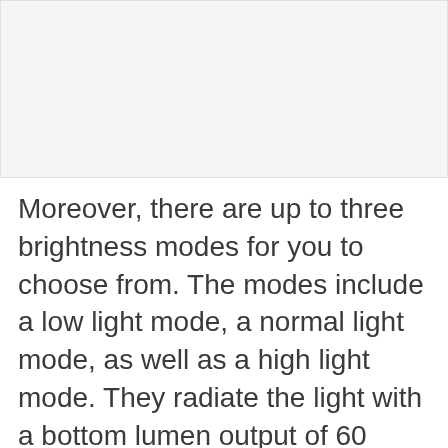[Figure (other): Empty light gray rectangular image placeholder at top of page]
Moreover, there are up to three brightness modes for you to choose from. The modes include a low light mode, a normal light mode, as well as a high light mode. They radiate the light with a bottom lumen output of 60 lumina and atop one of 230 lumina. Correspondingly, the working hours varying from 6-hour to 12-hour. This is convenient and user-friendly